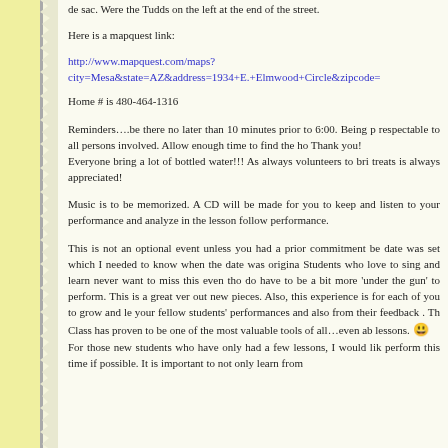de sac. Were the Tudds on the left at the end of the street.
Here is a mapquest link:
http://www.mapquest.com/maps?city=Mesa&state=AZ&address=1934+E.+Elmwood+Circle&zipcode=
Home # is 480-464-1316
Reminders….be there no later than 10 minutes prior to 6:00. Being p respectable to all persons involved. Allow enough time to find the ho Thank you! Everyone bring a lot of bottled water!!! As always volunteers to bri treats is always appreciated!
Music is to be memorized. A CD will be made for you to keep and listen to your performance and analyze in the lesson follow performance.
This is not an optional event unless you had a prior commitment be date was set which I needed to know when the date was origina Students who love to sing and learn never want to miss this even tho do have to be a bit more 'under the gun' to perform. This is a great ver out new pieces. Also, this experience is for each of you to grow and le your fellow students' performances and also from their feedback . Th Class has proven to be one of the most valuable tools of all…even ab lessons. 😀 For those new students who have only had a few lessons, I would lik perform this time if possible. It is important to not only learn from